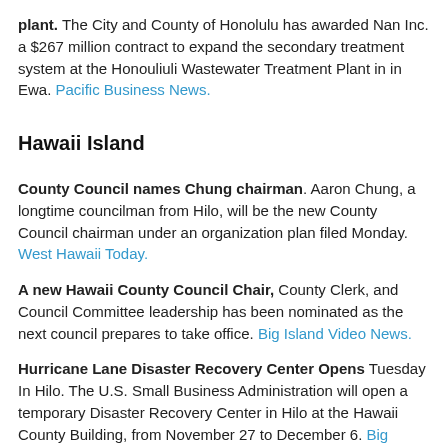plant. The City and County of Honolulu has awarded Nan Inc. a $267 million contract to expand the secondary treatment system at the Honouliuli Wastewater Treatment Plant in in Ewa. Pacific Business News.
Hawaii Island
County Council names Chung chairman. Aaron Chung, a longtime councilman from Hilo, will be the new County Council chairman under an organization plan filed Monday. West Hawaii Today.
A new Hawaii County Council Chair, County Clerk, and Council Committee leadership has been nominated as the next council prepares to take office. Big Island Video News.
Hurricane Lane Disaster Recovery Center Opens Tuesday In Hilo. The U.S. Small Business Administration will open a temporary Disaster Recovery Center in Hilo at the Hawaii County Building, from November 27 to December 6. Big Island Video News.